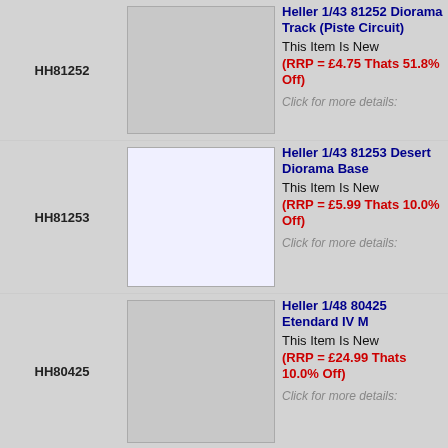| Code | Image | Description |
| --- | --- | --- |
| HH81252 | [image] | Heller 1/43 81252 Diorama Track (Piste Circuit)
This Item Is New
(RRP = £4.75 Thats 51.8% Off)
Click for more details: |
| HH81253 | [image] | Heller 1/43 81253 Desert Diorama Base
This Item Is New
(RRP = £5.99 Thats 10.0% Off)
Click for more details: |
| HH80425 | [image] | Heller 1/48 80425 Etendard IV M
This Item Is New
(RRP = £24.99 Thats 10.0% Off)
Click for more details: |
|  | [image] | Heller 1/48 80426 Mirage 2000 C |